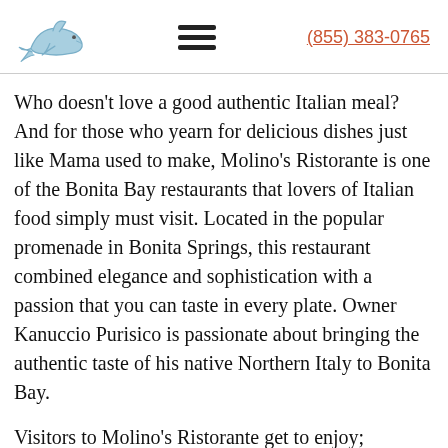[dolphin logo] [hamburger menu] (855) 383-0765
Who doesn't love a good authentic Italian meal? And for those who yearn for delicious dishes just like Mama used to make, Molino's Ristorante is one of the Bonita Bay restaurants that lovers of Italian food simply must visit. Located in the popular promenade in Bonita Springs, this restaurant combined elegance and sophistication with a passion that you can taste in every plate. Owner Kanuccio Purisico is passionate about bringing the authentic taste of his native Northern Italy to Bonita Bay.
Visitors to Molino's Ristorante get to enjoy;
1. An elegant yet relaxed atmosphere with a tastefully